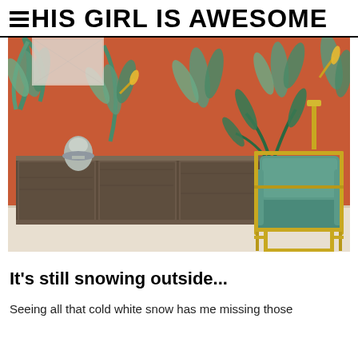THIS GIRL IS AWESOME
[Figure (photo): Interior room scene featuring a teal velvet armchair with a gold metal frame, a dark wood sideboard/credenza, and a red wallpaper with tropical bird-of-paradise leaf pattern. Light wood floor visible.]
It's still snowing outside...
Seeing all that cold white snow has me missing those